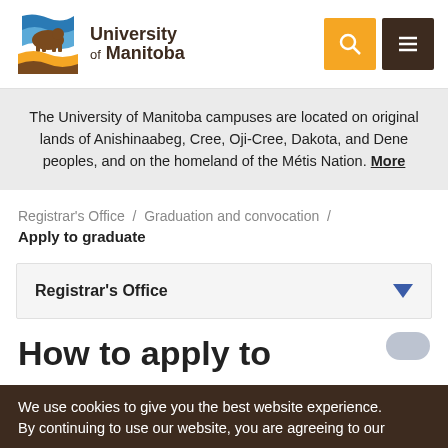[Figure (logo): University of Manitoba logo with bison and shield icon and text 'University of Manitoba']
The University of Manitoba campuses are located on original lands of Anishinaabeg, Cree, Oji-Cree, Dakota, and Dene peoples, and on the homeland of the Métis Nation. More
Registrar's Office  /  Graduation and convocation  /
Apply to graduate
Registrar's Office
How to apply to
We use cookies to give you the best website experience. By continuing to use our website, you are agreeing to our